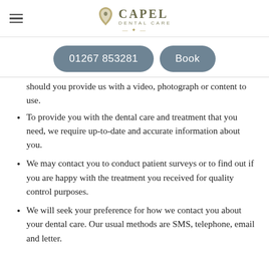Capel Dental Care
01267 853281  Book
should you provide us with a video, photograph or content to use.
To provide you with the dental care and treatment that you need, we require up-to-date and accurate information about you.
We may contact you to conduct patient surveys or to find out if you are happy with the treatment you received for quality control purposes.
We will seek your preference for how we contact you about your dental care. Our usual methods are SMS, telephone, email and letter.